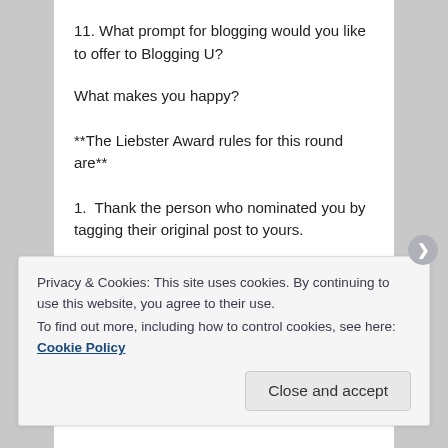11. What prompt for blogging would you like to offer to Blogging U?
What makes you happy?
**The Liebster Award rules for this round are**
1.  Thank the person who nominated you by tagging their original post to yours.
2. Answer 11 questions.
Privacy & Cookies: This site uses cookies. By continuing to use this website, you agree to their use.
To find out more, including how to control cookies, see here: Cookie Policy
Close and accept